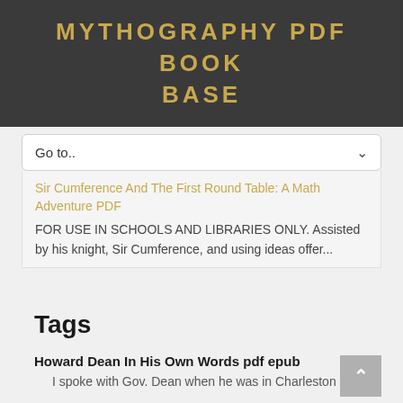MYTHOGRAPHY PDF BOOK BASE
Go to..
Sir Cumference And The First Round Table: A Math Adventure PDF
FOR USE IN SCHOOLS AND LIBRARIES ONLY. Assisted by his knight, Sir Cumference, and using ideas offer...
Tags
Howard Dean In His Own Words pdf epub
I spoke with Gov. Dean when he was in Charleston a